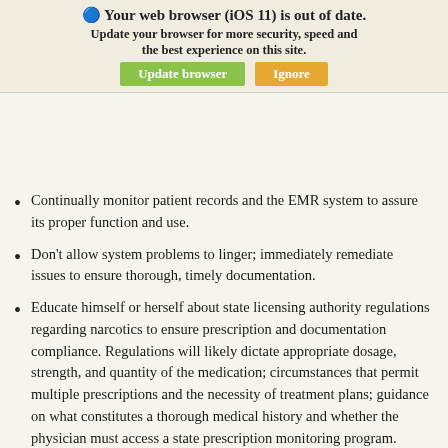documentation occurs and that the medical records are entered into the system properly. The physician is responsible for any breakdowns in the process. Therefore, it is critical for every practitioner and practice to:
[Figure (screenshot): Browser update notification overlay reading 'Your web browser (iOS 11) is out of date. Update your browser for more security, speed and the best experience on this site.' with green 'Update browser' and orange 'Ignore' buttons.]
Continually monitor patient records and the EMR system to assure its proper function and use.
Don't allow system problems to linger; immediately remediate issues to ensure thorough, timely documentation.
Educate himself or herself about state licensing authority regulations regarding narcotics to ensure prescription and documentation compliance. Regulations will likely dictate appropriate dosage, strength, and quantity of the medication; circumstances that permit multiple prescriptions and the necessity of treatment plans; guidance on what constitutes a thorough medical history and whether the physician must access a state prescription monitoring program.